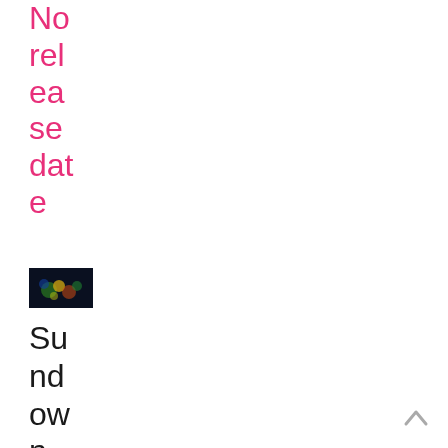No release date
[Figure (photo): Small dark thumbnail image with colorful bokeh lights, possibly a movie or event promotional image]
Sundown 74...